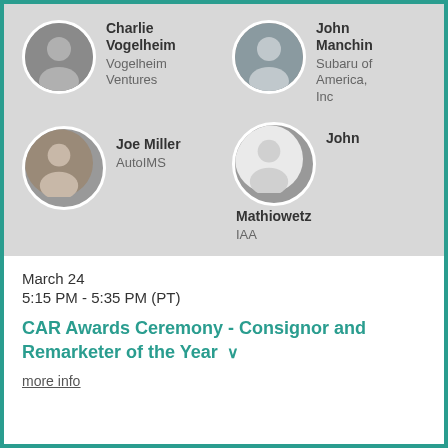[Figure (photo): Photo of Charlie Vogelheim, circular headshot]
Charlie Vogelheim
Vogelheim Ventures
[Figure (photo): Photo of John Manchin, circular headshot]
John Manchin
Subaru of America, Inc
[Figure (photo): Photo of Joe Miller, circular headshot]
Joe Miller
AutoIMS
[Figure (photo): Photo of John Mathiowetz, circular headshot]
John Mathiowetz
IAA
March 24
5:15 PM - 5:35 PM (PT)
CAR Awards Ceremony - Consignor and Remarketer of the Year
more info